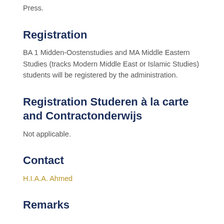Press.
Registration
BA 1 Midden-Oostenstudies and MA Middle Eastern Studies (tracks Modern Middle East or Islamic Studies) students will be registered by the administration.
Registration Studeren à la carte and Contractonderwijs
Not applicable.
Contact
H.I.A.A. Ahmed
Remarks